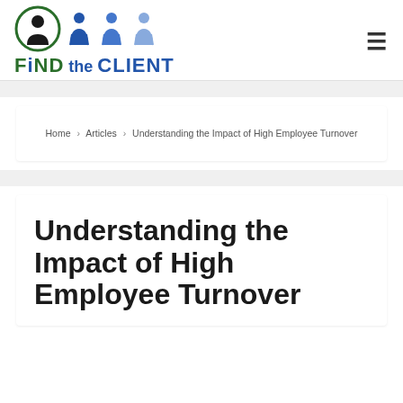[Figure (logo): Find the Client logo with circle icon showing a person silhouette, three human figure icons in blue shades, and text 'FiND the CLIENT' in green and blue]
Home › Articles › Understanding the Impact of High Employee Turnover
Understanding the Impact of High Employee Turnover